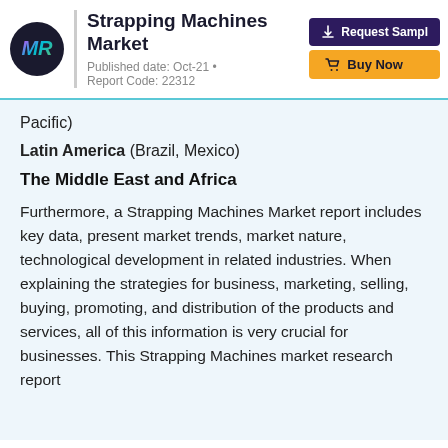Strapping Machines Market — Published date: Oct-21 • Report Code: 22312
Pacific)
Latin America (Brazil, Mexico)
The Middle East and Africa
Furthermore, a Strapping Machines Market report includes key data, present market trends, market nature, technological development in related industries. When explaining the strategies for business, marketing, selling, buying, promoting, and distribution of the products and services, all of this information is very crucial for businesses. This Strapping Machines market research report